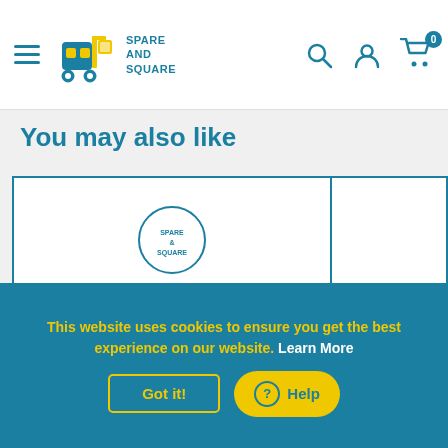Spare and Square — Navigation header with hamburger menu, logo, search, account, and cart icons
You may also like
[Figure (screenshot): Two product card placeholders side by side with teal borders on a light grey background. The left card is larger (approx 2/3 width) and the right card is partially visible. A circular Spare and Square logo watermark is visible at the bottom of the left card.]
This website uses cookies to ensure you get the best experience on our website. Learn More
Got it!
Help